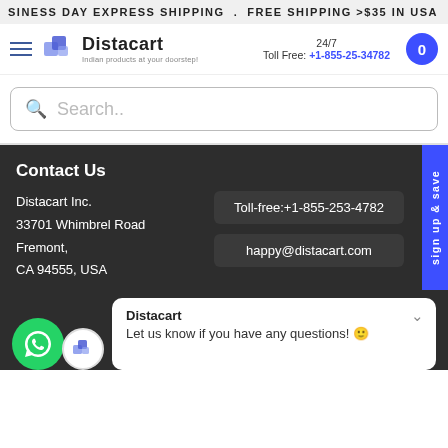SINESS DAY EXPRESS SHIPPING . FREE SHIPPING >$35 IN USA
[Figure (logo): Distacart logo with blue cube icon and tagline 'Indian products at your doorstep!']
24/7 Toll Free: +1-855-25-34782
Search..
Contact Us
Distacart Inc.
33701 Whimbrel Road
Fremont,
CA 94555, USA
Toll-free:+1-855-253-4782
happy@distacart.com
sign up & save
Distacart
Let us know if you have any questions! 😊